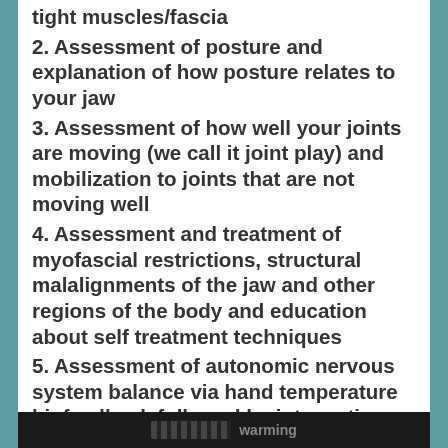tight muscles/fascia
2. Assessment of posture and explanation of how posture relates to your jaw
3. Assessment of how well your joints are moving (we call it joint play) and mobilization to joints that are not moving well
4. Assessment and treatment of myofascial restrictions, structural malalignments of the jaw and other regions of the body and education about self treatment techniques
5. Assessment of autonomic nervous system balance via hand temperature biofeedback followed by inteventions such as breathing techniques, Jacobson relaxation exercises, and warming